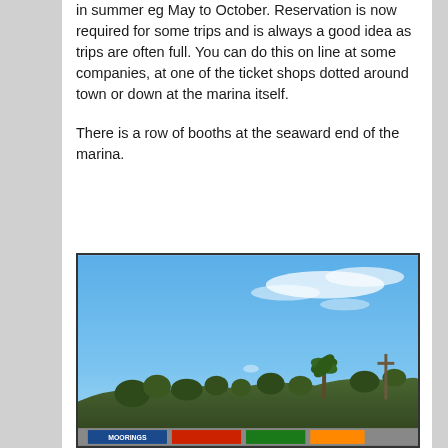in summer eg May to October. Reservation is now required for some trips and is always a good idea as trips are often full. You can do this on line at some companies, at one of the ticket shops dotted around town or down at the marina itself.
There is a row of booths at the seaward end of the marina.
[Figure (photo): Outdoor photo showing a blue sky with wispy white clouds in the upper portion, and a hillside with trees, shrubs, and signs/booths visible at the bottom of the image. A colorful sign is partially visible at the very bottom.]